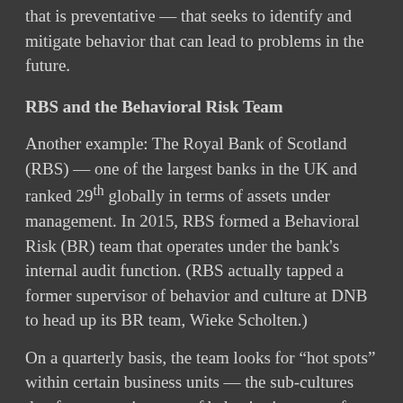that is preventative — that seeks to identify and mitigate behavior that can lead to problems in the future.
RBS and the Behavioral Risk Team
Another example: The Royal Bank of Scotland (RBS) — one of the largest banks in the UK and ranked 29th globally in terms of assets under management. In 2015, RBS formed a Behavioral Risk (BR) team that operates under the bank's internal audit function. (RBS actually tapped a former supervisor of behavior and culture at DNB to head up its BR team, Wieke Scholten.)
On a quarterly basis, the team looks for “hot spots” within certain business units — the sub-cultures that foster certain types of behavior in terms of decision-making, communication, acknowledgement and responsiveness — using confidential conversations